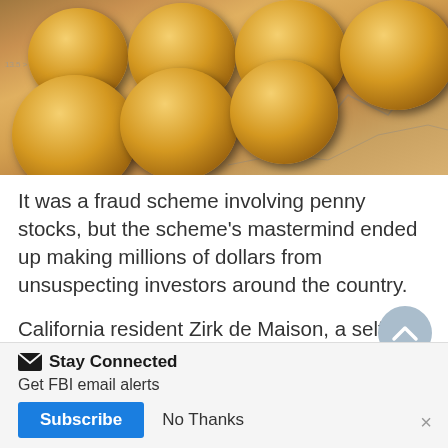[Figure (photo): Photograph of multiple copper penny coins stacked and spread on a financial chart/stock paper background]
It was a fraud scheme involving penny stocks, but the scheme's mastermind ended up making millions of dollars from unsuspecting investors around the country.
California resident Zirk de Maison, a self-described merchant banker, devised a plan to make himself some easy money off the backs of hard-working
Stay Connected
Get FBI email alerts
Subscribe
No Thanks